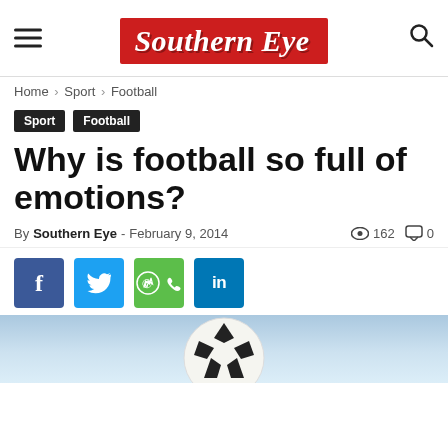Southern Eye
Home › Sport › Football
Sport  Football
Why is football so full of emotions?
By Southern Eye - February 9, 2014   162   0
[Figure (screenshot): Social share buttons: Facebook, Twitter, WhatsApp, LinkedIn]
[Figure (photo): Partial sky and football image at the bottom of the page]